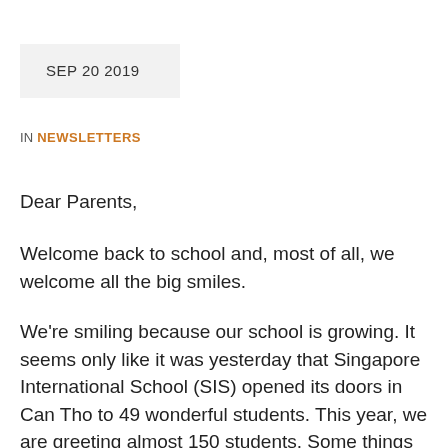SEP 20 2019
IN NEWSLETTERS
Dear Parents,
Welcome back to school and, most of all, we welcome all the big smiles.
We’re smiling because our school is growing. It seems only like it was yesterday that Singapore International School (SIS) opened its doors in Can Tho to 49 wonderful students. This year, we are greeting almost 150 students. Some things haven’t changed – the enjoyment on many faces of students as they come to school. Seeing the excitement on students’ faces is a true motivator for